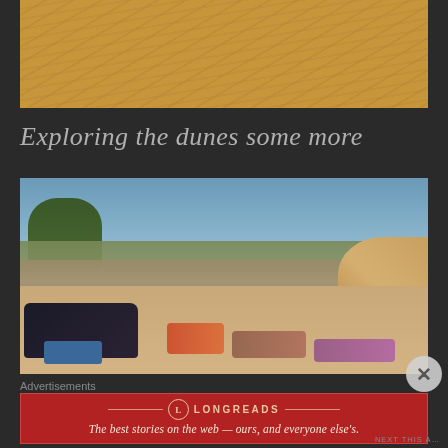[Figure (photo): Close-up photo of sandy desert dunes with rippled sand texture in warm golden tones]
Exploring the dunes some more
[Figure (photo): Outdoor desert campsite photo showing sleeping bags and gear laid out on sandy ground in front of a wicker/thorn fence enclosure, with sparse trees and sand dunes visible in the background under a clear blue sky]
Advertisements
[Figure (logo): Longreads advertisement banner in red: circular L logo, LONGREADS brand name, tagline 'The best stories on the web — ours, and everyone else's.']